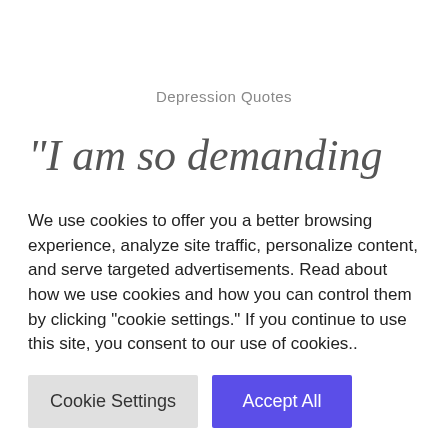Depression Quotes
“I am so demanding and difficult for my friends because I want to crumble and fall apart before
We use cookies to offer you a better browsing experience, analyze site traffic, personalize content, and serve targeted advertisements. Read about how we use cookies and how you can control them by clicking “cookie settings.” If you continue to use this site, you consent to our use of cookies..
Cookie Settings | Accept All